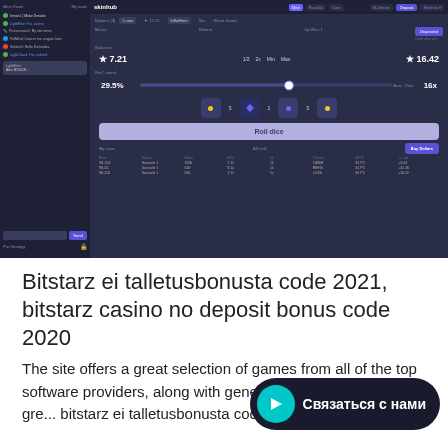[Figure (screenshot): Screenshot of Skinhub casino/dice game interface with dark purple theme, showing game controls, balance, dice, roll button, and betting table]
Bitstarz ei talletusbonusta code 2021, bitstarz casino no deposit bonus code 2020
The site offers a great selection of games from all of the top software providers, along with generous bonuses and a gre... bitstarz ei talletusbonusta code 2021. Online
[Figure (screenshot): Overlay chat button with cyan play icon and text 'Связаться с нами']